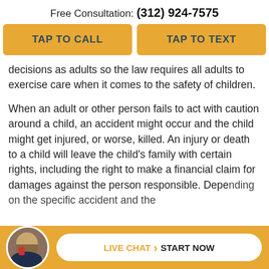Free Consultation: (312) 924-7575
[Figure (other): Two buttons: TAP TO CALL and TAP TO TEXT, gold/amber background]
decisions as adults so the law requires all adults to exercise care when it comes to the safety of children.
When an adult or other person fails to act with caution around a child, an accident might occur and the child might get injured, or worse, killed. An injury or death to a child will leave the child’s family with certain rights, including the right to make a financial claim for damages against the person responsible. Depending on the specific accident and the
[Figure (other): Footer bar with attorney avatar photo and LIVE CHAT > START NOW pill button on gold background]